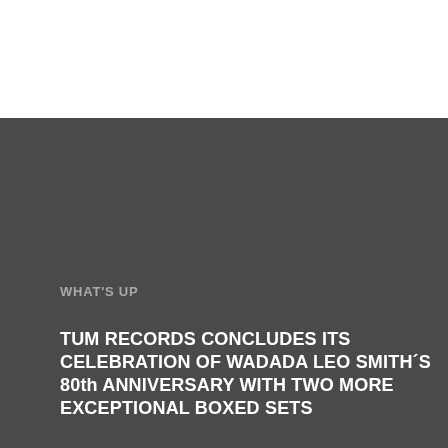RECORDS  TUMFEST  TUM INFO  TUM  TUM ALTERNATIVE  TUM BO
WHAT'S UP
RECORDING DATA
TUM RECORDS CONCLUDES ITS CELEBRATION OF WADADA LEO SMITH'S 80th ANNIVERSARY WITH TWO MORE EXCEPTIONAL BOXED SETS